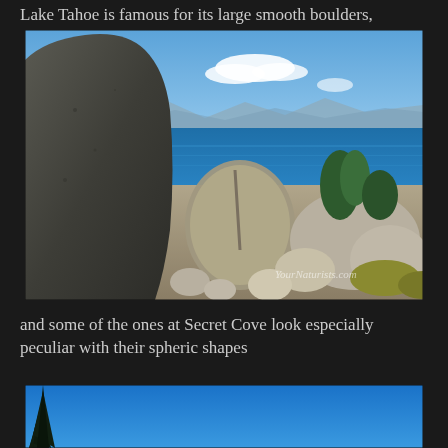Lake Tahoe is famous for its large smooth boulders,
[Figure (photo): Photograph of large granite boulders at Lake Tahoe's Secret Cove with blue lake water and mountains visible in the background, under a partly cloudy blue sky. A watermark reading 'YourNaturists.com' is visible in the lower right.]
and some of the ones at Secret Cove look especially peculiar with their spheric shapes
[Figure (photo): Partial photograph showing a vivid blue sky with a dark conifer tree silhouette on the left edge, likely at Lake Tahoe.]